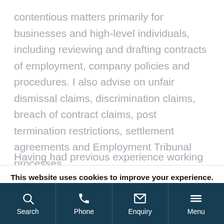contentious matters primarily for businesses and high-level individuals, including reviewing and drafting contracts of employment, company policies and procedures. I also advise on unfair dismissal claims, discrimination claims, breach of contract claims, post termination restrictions, settlement agreements and Employment Tribunal processes.
Having had previous experience working in a
This website uses cookies to improve your experience. We'll assume you're ok with this, but you can opt-out if you wish. Accept Read More
Search | Phone | Enquiry | Menu